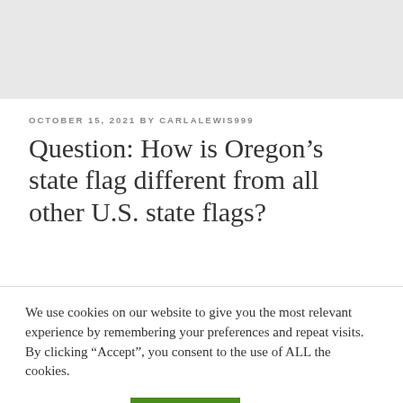[Figure (other): Light gray banner area at top of page]
OCTOBER 15, 2021 BY CARLALEWIS999
Question: How is Oregon’s state flag different from all other U.S. state flags?
We use cookies on our website to give you the most relevant experience by remembering your preferences and repeat visits. By clicking “Accept”, you consent to the use of ALL the cookies.
Cookie settings  ACCEPT